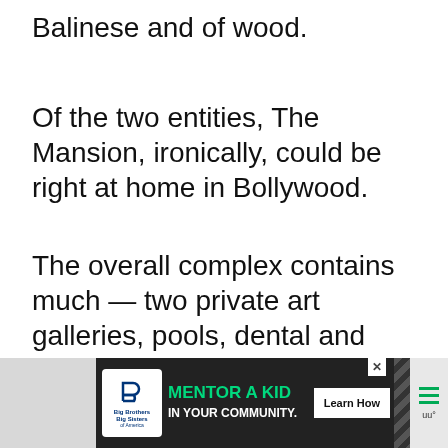Balinese and of wood.
Of the two entities, The Mansion, ironically, could be right at home in Bollywood.
The overall complex contains much — two private art galleries, pools, dental and cosmetic clinics, convention facilities, tropical gardens, gym, spa and Kids Club.
[Figure (screenshot): UI overlay showing heart/like button with count '1' and share button]
[Figure (screenshot): Back-to-top teal button with upward chevron]
WHAT'S NEXT → Bali River Rafting — more things to do in Bali? For an adventure on the water, try river rafting.
[Figure (screenshot): Advertisement banner: Big Brothers Big Sisters – MENTOR A KID IN YOUR COMMUNITY. Learn How button.]